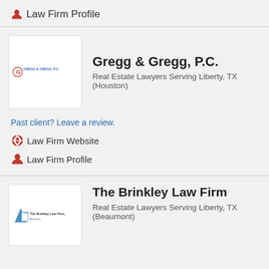Law Firm Profile
[Figure (logo): Gregg & Gregg P.C. logo — circular red/blue symbol with G, company name in blue text]
Gregg & Gregg, P.C.
Real Estate Lawyers Serving Liberty, TX (Houston)
Past client? Leave a review.
Law Firm Website
Law Firm Profile
[Figure (logo): The Brinkley Law Firm logo — blue angular shape with white page icon, firm name text]
The Brinkley Law Firm
Real Estate Lawyers Serving Liberty, TX (Beaumont)